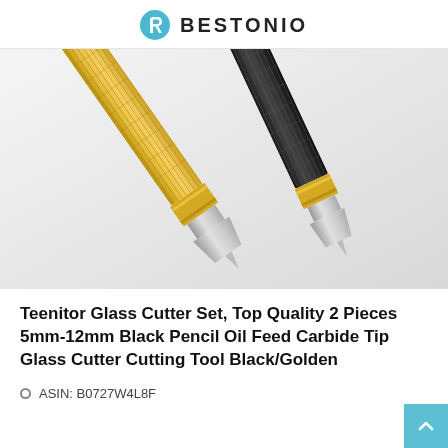BESTONIO
[Figure (photo): Two glass cutter tools angled diagonally. Left tool has a gold/yellow knurled handle with a silver carbide tip blade. Right tool has a black knurled handle with a gold collar and silver carbide tip blade. Both tips show trapezoidal/wedge-shaped metal cutting heads.]
Teenitor Glass Cutter Set, Top Quality 2 Pieces 5mm-12mm Black Pencil Oil Feed Carbide Tip Glass Cutter Cutting Tool Black/Golden
ASIN: B0727W4L8F